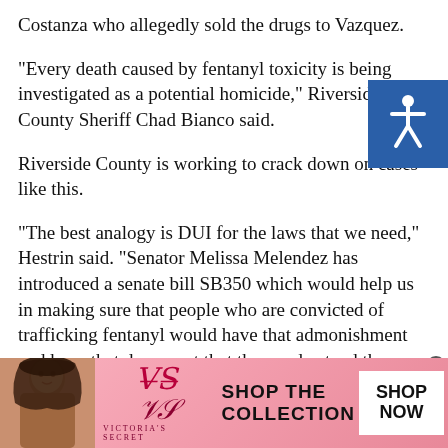Costanza who allegedly sold the drugs to Vazquez.
“Every death caused by fentanyl toxicity is being investigated as a potential homicide,” Riverside County Sheriff Chad Bianco said.
Riverside County is working to crack down on cases like this.
“The best analogy is DUI for the laws that we need,” Hestrin said. "Senator Melissa Melendez has introduced a senate bill SB350 which would help us in making sure that people who are convicted of trafficking fentanyl would have that admonishment and have that document that they understand the risks," he said.
Learn more about SB350 here: https://kesq.com/news/cv-questions-answered/2021/02/15/state-senator-melissa-
[Figure (photo): Victoria's Secret advertisement banner with a woman model and text 'SHOP THE COLLECTION' with a 'SHOP NOW' button]